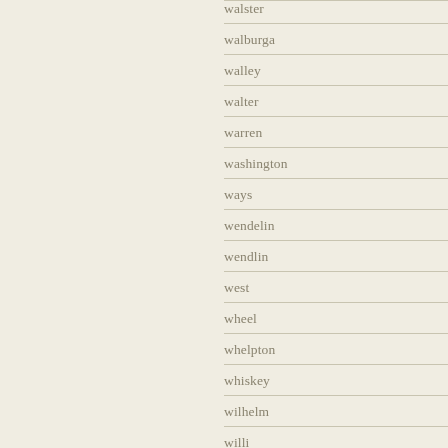walster
walburga
walley
walter
warren
washington
ways
wendelin
wendlin
west
wheel
whelpton
whiskey
wilhelm
willi
william